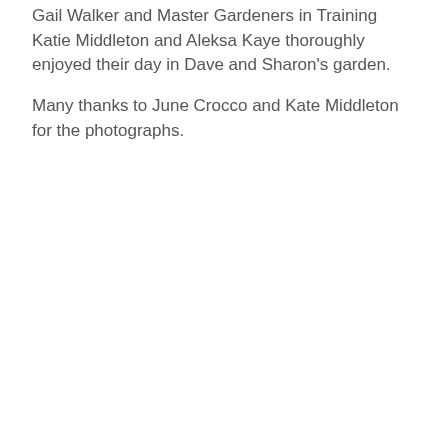Gail Walker and Master Gardeners in Training Katie Middleton and Aleksa Kaye thoroughly enjoyed their day in Dave and Sharon's garden.
Many thanks to June Crocco and Kate Middleton for the photographs.